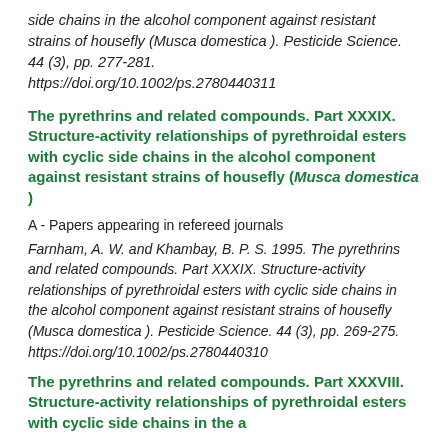side chains in the alcohol component against resistant strains of housefly (Musca domestica ). Pesticide Science. 44 (3), pp. 277-281. https://doi.org/10.1002/ps.2780440311
The pyrethrins and related compounds. Part XXXIX. Structure-activity relationships of pyrethroidal esters with cyclic side chains in the alcohol component against resistant strains of housefly (Musca domestica )
A - Papers appearing in refereed journals
Farnham, A. W. and Khambay, B. P. S. 1995. The pyrethrins and related compounds. Part XXXIX. Structure-activity relationships of pyrethroidal esters with cyclic side chains in the alcohol component against resistant strains of housefly (Musca domestica ). Pesticide Science. 44 (3), pp. 269-275. https://doi.org/10.1002/ps.2780440310
The pyrethrins and related compounds. Part XXXVIII. Structure-activity relationships...